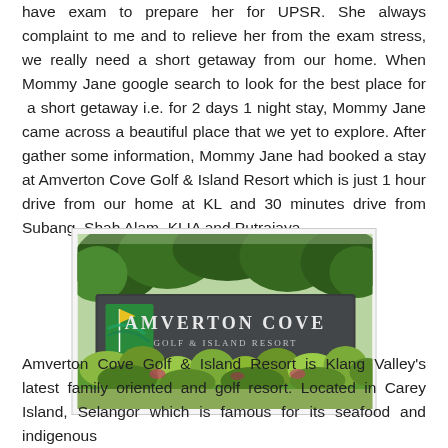have exam to prepare her for UPSR. She always complaint to me and to relieve her from the exam stress, we really need a short getaway from our home. When Mommy Jane google search to look for the best place for a short getaway i.e. for 2 days 1 night stay, Mommy Jane came across a beautiful place that we yet to explore. After gather some information, Mommy Jane had booked a stay at Amverton Cove Golf & Island Resort which is just 1 hour drive from our home at KL and 30 minutes drive from Subang, Shah Alam, KLIA and Putrajaya.
[Figure (photo): Photo of Amverton Cove Golf & Island Resort entrance sign with lush green trees and landscaped garden in the foreground]
Amverton Cove Golf & Island Resort is Klang Valley's latest family oriented and golf resort. Located in Carey Island, Selangor which is famous for its seafood and indigenous